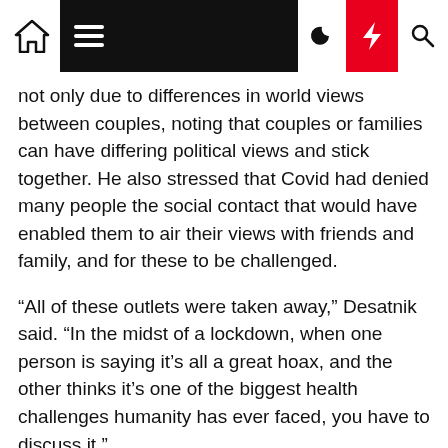Navigation bar with home icon, hamburger menu, moon icon, lightning bolt icon (red background), search icon
not only due to differences in world views between couples, noting that couples or families can have differing political views and stick together. He also stressed that Covid had denied many people the social contact that would have enabled them to air their views with friends and family, and for these to be challenged.
“All of these outlets were taken away,” Desatnik said. “In the midst of a lockdown, when one person is saying it's all a great hoax, and the other thinks it's one of the biggest health challenges humanity has ever faced, you have to discuss it.”
Family law specialists say “Covid denial” within a family unit can be one of the hardest relationship challenges to overcome.